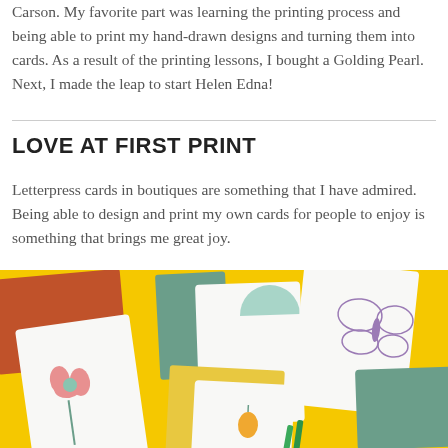Carson. My favorite part was learning the printing process and being able to print my hand-drawn designs and turning them into cards. As a result of the printing lessons, I bought a Golding Pearl. Next, I made the leap to start Helen Edna!
LOVE AT FIRST PRINT
Letterpress cards in boutiques are something that I have admired. Being able to design and print my own cards for people to enjoy is something that brings me great joy.
[Figure (photo): Overhead photo of letterpress cards and envelopes arranged on a bright yellow background. Cards feature designs including a flower, butterfly, and other motifs. Envelopes in terracotta, teal, and yellow are visible alongside the white cards.]